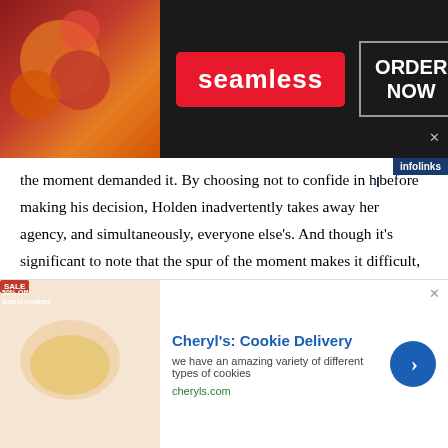[Figure (screenshot): Seamless food delivery advertisement banner with pizza image on left, red Seamless logo in center, and ORDER NOW button on right, dark background]
the moment demanded it. By choosing not to confide in h before making his decision, Holden inadvertently takes away her agency, and simultaneously, everyone else's. And though it's significant to note that the spur of the moment makes it difficult, it's still worth noting what it represents.
It's also essential that the conversation leads to both confronting what's necessary about their characteristics and how they mesh together. Naomi vocalizes that he needs to stop treating her like she is broken, but Holden states that she needs to stop running away from her feeling. And it's a moment importance to showcase what strength looks like
[Figure (screenshot): Cheryl's Cookie Delivery advertisement banner with cookie image, title, description text, cheryls.com URL, and blue arrow button]